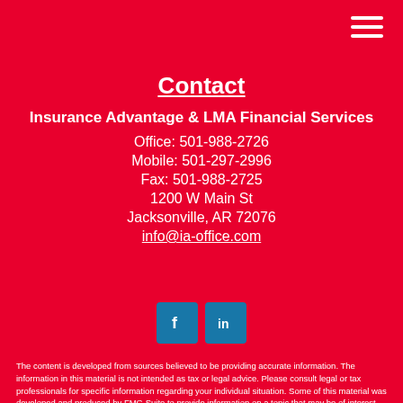Contact
Insurance Advantage & LMA Financial Services
Office: 501-988-2726
Mobile: 501-297-2996
Fax: 501-988-2725
1200 W Main St
Jacksonville, AR 72076
info@ia-office.com
[Figure (infographic): Facebook and LinkedIn social media icon buttons]
The content is developed from sources believed to be providing accurate information. The information in this material is not intended as tax or legal advice. Please consult legal or tax professionals for specific information regarding your individual situation. Some of this material was developed and produced by FMG Suite to provide information on a topic that may be of interest. FMG Suite is not affiliated with the named representative, broker - dealer, state - or SEC - registered investment advisory firm. The opinions expressed and material provided are for general information, and should not be considered a solicitation for the purchase or sale of any security.